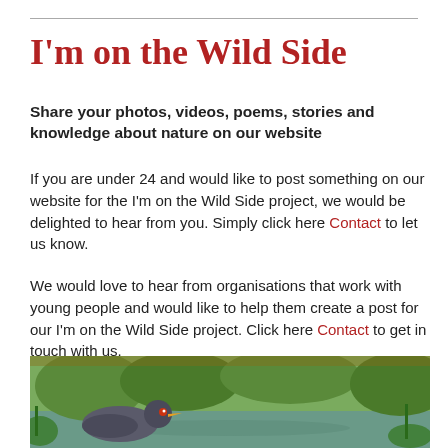I'm on the Wild Side
Share your photos, videos, poems, stories and knowledge about nature on our website
If you are under 24 and would like to post something on our website for the I'm on the Wild Side project, we would be delighted to hear from you. Simply click here Contact to let us know.
We would love to hear from organisations that work with young people and would like to help them create a post for our I'm on the Wild Side project. Click here Contact to get in touch with us.
To take a look at the inspired and inspiring contributions from young people, click here: I'm on the Wild Side
[Figure (photo): A bird (appears to be a moorhen or coot) swimming in a pond with green aquatic vegetation and garden plants in the background.]